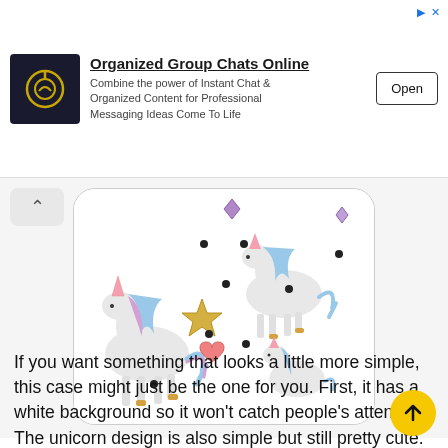[Figure (screenshot): Advertisement banner for 'Organized Group Chats Online' app with logo, description text, and Open button]
[Figure (photo): Phone case product photo showing a white background unicorn pattern case with unicorns, stars, hearts, and polka dots]
If you want something that looks a little more simple, this case might just be the one for you. First, it has a white background so it won't catch people's attention. The unicorn design is also simple but still pretty cute. The cover is made of polycarbonate so durability won't be an issue for sure.